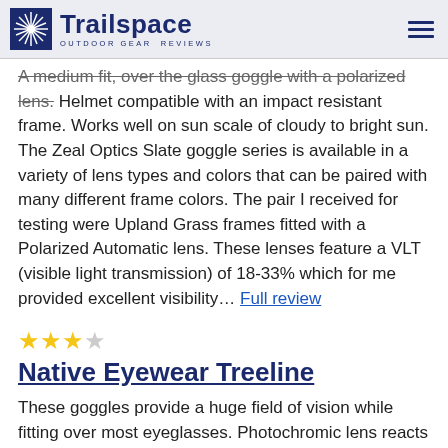Trailspace OUTDOOR GEAR REVIEWS
A medium fit, over the glass goggle with a polarized lens. Helmet compatible with an impact resistant frame. Works well on sun scale of cloudy to bright sun. The Zeal Optics Slate goggle series is available in a variety of lens types and colors that can be paired with many different frame colors. The pair I received for testing were Upland Grass frames fitted with a Polarized Automatic lens. These lenses feature a VLT (visible light transmission) of 18-33% which for me provided excellent visibility… Full review
★★★☆☆
Native Eyewear Treeline
These goggles provide a huge field of vision while fitting over most eyeglasses. Photochromic lens reacts quickly and…